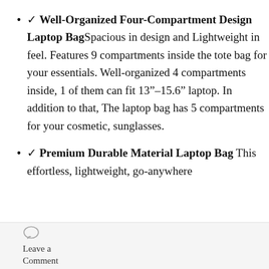✓ Well-Organized Four-Compartment Design Laptop Bag Spacious in design and Lightweight in feel. Features 9 compartments inside the tote bag for your essentials. Well-organized 4 compartments inside, 1 of them can fit 13"-15.6" laptop. In addition to that, The laptop bag has 5 compartments for your cosmetic, sunglasses.
✓ Premium Durable Material Laptop Bag This effortless, lightweight, go-anywhere
Leave a Comment